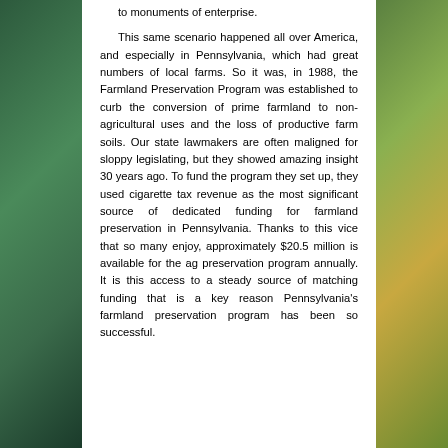to monuments of enterprise.

This same scenario happened all over America, and especially in Pennsylvania, which had great numbers of local farms. So it was, in 1988, the Farmland Preservation Program was established to curb the conversion of prime farmland to non-agricultural uses and the loss of productive farm soils. Our state lawmakers are often maligned for sloppy legislating, but they showed amazing insight 30 years ago. To fund the program they set up, they used cigarette tax revenue as the most significant source of dedicated funding for farmland preservation in Pennsylvania. Thanks to this vice that so many enjoy, approximately $20.5 million is available for the ag preservation program annually. It is this access to a steady source of matching funding that is a key reason Pennsylvania's farmland preservation program has been so successful.